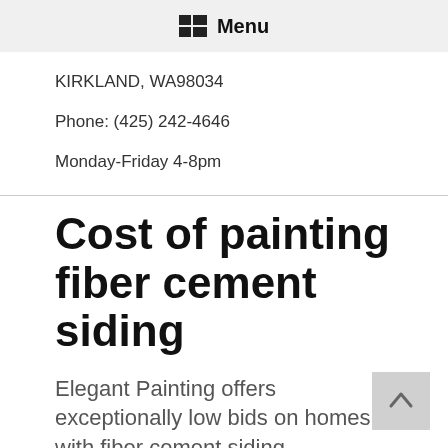Menu
KIRKLAND, WA98034
Phone: (425) 242-4646
Monday-Friday 4-8pm
Cost of painting fiber cement siding
Elegant Painting offers exceptionally low bids on homes with fiber cement siding...